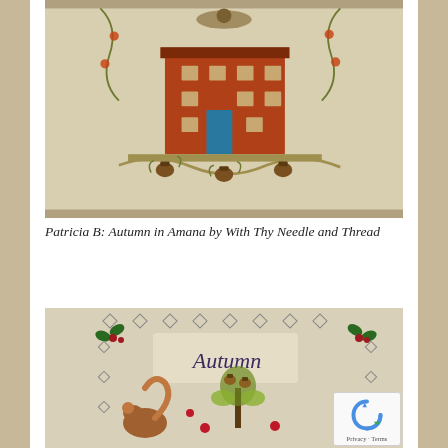[Figure (photo): Cross-stitch embroidery showing a red/orange house with decorative floral borders and autumn-themed elements including acorns and vines on linen fabric]
Patricia B: Autumn in Amana by With Thy Needle and Thread
[Figure (photo): Cross-stitch embroidery with text 'Autumn' surrounded by a diamond and holly border, with a squirrel, acorns, and autumn flowers on linen fabric]